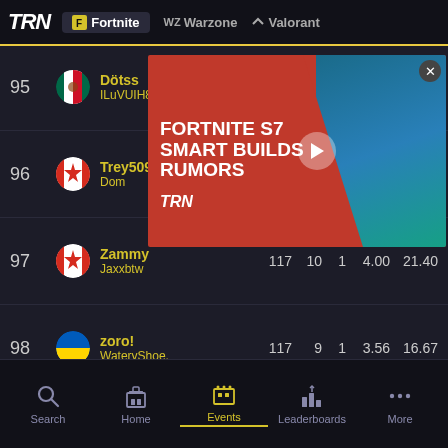TRN | Fortnite | Warzone | Valorant
| Rank | Player | Score | Matches | Wins | K/D | Kills/Match |
| --- | --- | --- | --- | --- | --- | --- |
| 95 | Dötss / ILuVUIH8UAnCHiT |  |  |  |  |  |
| 96 | Trey509 / Dom | 118 | 10 | 0 | 7.80 | 24.60 |
| 97 | Zammy / Jaxxbtw | 117 | 10 | 1 | 4.00 | 21.40 |
| 98 | zoro! / WateryShoe. | 117 | 9 | 1 | 3.56 | 16.67 |
[Figure (screenshot): Ad overlay for Fortnite S7 Smart Builds Rumors from TRN]
Search | Home | Events | Leaderboards | More